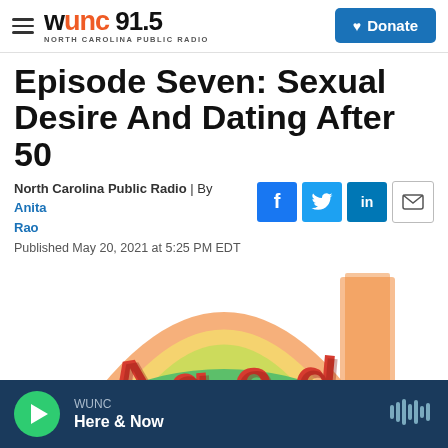WUNC 91.5 · North Carolina Public Radio | Donate
Episode Seven: Sexual Desire And Dating After 50
North Carolina Public Radio | By Anita Rao
Published May 20, 2021 at 5:25 PM EDT
[Figure (illustration): Aged podcast artwork showing colorful retro-style text 'Aged' with a rainbow arc background and illustrated figures]
WUNC · Here & Now